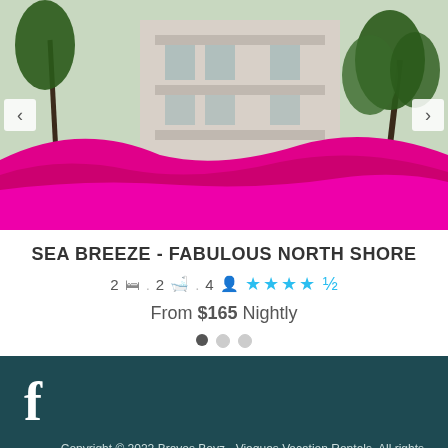[Figure (photo): Tropical property photo showing a building with palm trees and bright magenta/pink flowers in the foreground. Navigation arrows on left and right sides.]
SEA BREEZE - FABULOUS NORTH SHORE
2 [bed] . 2 [bath] . 4 [guests] ★★★★☆
From $165 Nightly
[Figure (infographic): Three dot pagination indicators, first dot active (dark), two inactive (light gray)]
[Figure (logo): Facebook 'f' logo icon in white on dark teal background]
Copyright © 2022 Bravos Boyz - Vieques Vacation Rentals. All rights reserved.
Terms of Use - Privacy Policy - Powered by Kigo.
BOOK NOW
MAP